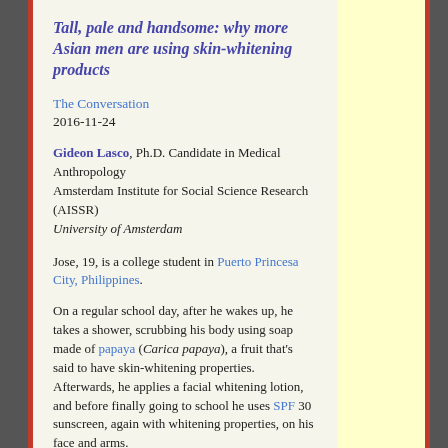Tall, pale and handsome: why more Asian men are using skin-whitening products
The Conversation
2016-11-24
Gideon Lasco, Ph.D. Candidate in Medical Anthropology
Amsterdam Institute for Social Science Research (AISSR)
University of Amsterdam
Jose, 19, is a college student in Puerto Princesa City, Philippines.
On a regular school day, after he wakes up, he takes a shower, scrubbing his body using soap made of papaya (Carica papaya), a fruit that’s said to have skin-whitening properties. Afterwards, he applies a facial whitening lotion, and before finally going to school he uses SPF 30 sunscreen, again with whitening properties, on his face and arms.